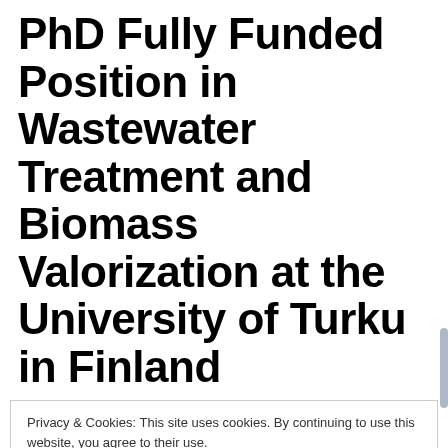PhD Fully Funded Position in Wastewater Treatment and Biomass Valorization at the University of Turku in Finland
Privacy & Cookies: This site uses cookies. By continuing to use this website, you agree to their use.
To find out more, including how to control cookies, see here: Cookie Policy
Close and accept
Fully funded doctoral programme (PhD...